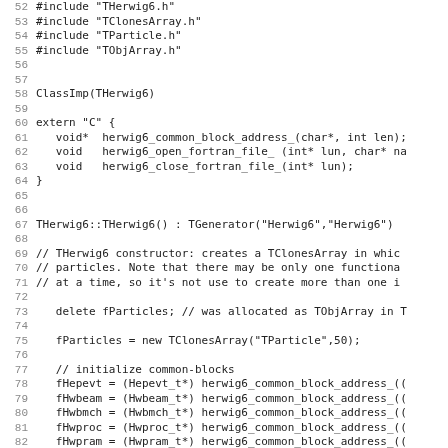Source code listing lines 52-83 of THerwig6 C++ implementation file
52  #include "THerwig6.h"
53  #include "TClonesArray.h"
54  #include "TParticle.h"
55  #include "TObjArray.h"
56
57
58 ClassImp(THerwig6)
59
60 extern "C" {
61    void*  herwig6_common_block_address_(char*, int len);
62    void   herwig6_open_fortran_file_ (int* lun, char* na
63    void   herwig6_close_fortran_file_(int* lun);
64 }
65
66
67 THerwig6::THerwig6() : TGenerator("Herwig6","Herwig6")
68
69 // THerwig6 constructor: creates a TClonesArray in whic
70 // particles. Note that there may be only one functiona
71 // at a time, so it's not use to create more than one i
72
73    delete fParticles; // was allocated as TObjArray in T
74
75    fParticles = new TClonesArray("TParticle",50);
76
77    // initialize common-blocks
78    fHepevt = (Hepevt_t*) herwig6_common_block_address_((
79    fHwbeam = (Hwbeam_t*) herwig6_common_block_address_((
80    fHwbmch = (Hwbmch_t*) herwig6_common_block_address_((
81    fHwproc = (Hwproc_t*) herwig6_common_block_address_((
82    fHwpram = (Hwpram_t*) herwig6_common_block_address_((
83    fHwprch = (Hwprch_t*) herwig6_common_block_address_(